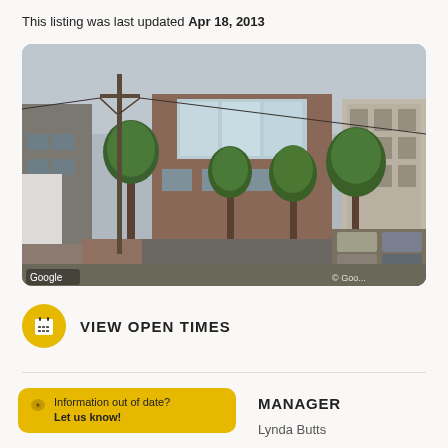This listing was last updated Apr 18, 2013
[Figure (photo): Google Street View photo of a brick building with trees lining a paved street, parking lot visible on the right, residential buildings on the left. Google watermark visible bottom-left and bottom-right.]
VIEW OPEN TIMES
Information out of date? Let us know!
MANAGER
Lynda Butts